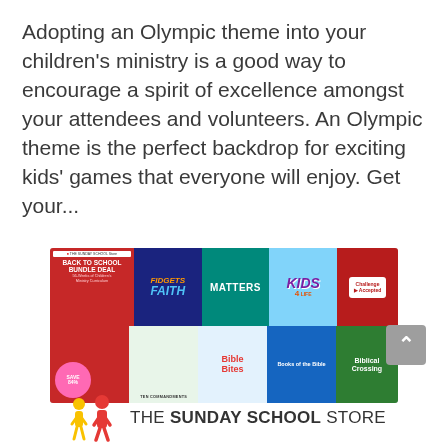Adopting an Olympic theme into your children's ministry is a good way to encourage a spirit of excellence amongst your attendees and volunteers. An Olympic theme is the perfect backdrop for exciting kids' games that everyone will enjoy. Get your...
[Figure (other): Sunday School Store advertisement banner showing multiple children's ministry curriculum products including Back to School Bundle Deal, Fidgets Faith, Kids Matters, Kids 4, Challenge, Ten Commandments, Bible Bites, Books of the Bible, and Biblical Crossing.]
[Figure (logo): The Sunday School Store logo with yellow and red stick figure icons and bold text reading THE SUNDAY SCHOOL STORE]